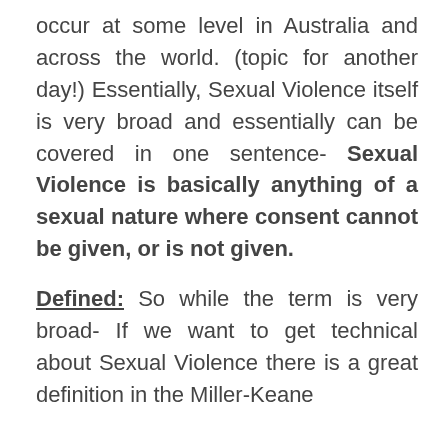occur at some level in Australia and across the world. (topic for another day!) Essentially, Sexual Violence itself is very broad and essentially can be covered in one sentence- Sexual Violence is basically anything of a sexual nature where consent cannot be given, or is not given.
Defined: So while the term is very broad- If we want to get technical about Sexual Violence there is a great definition in the Miller-Keane